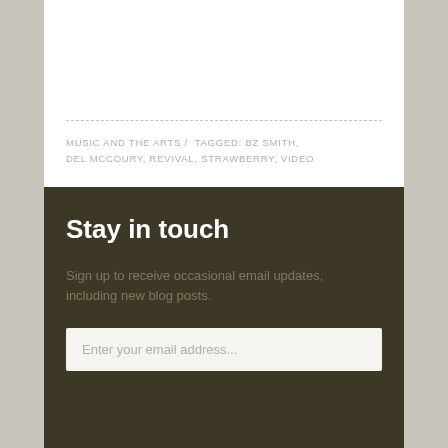MUSIC AND THE ARTS / TAGGED: BZ SMITH, DEL MCCOURY, REVIVAL, STRAWBERRY, VIDEO
Stay in touch
Sign up to receive occasional email updates, including new blog posts.
Enter your email address...